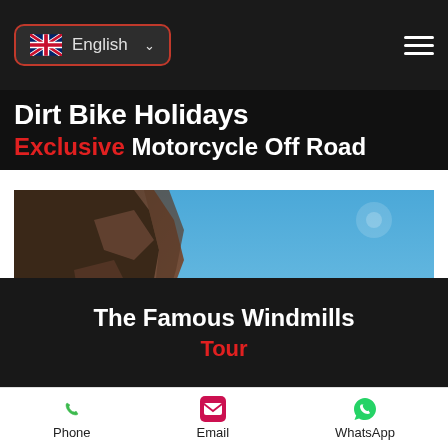English (language selector with UK flag) | Hamburger menu
Dirt Bike Holidays
Exclusive Motorcycle Off Road
[Figure (photo): Motorcyclists riding on a dirt/gravel road beside rocky cliffs under a clear blue sky, desert landscape in background]
The Famous Windmills Tour
Phone | Email | WhatsApp